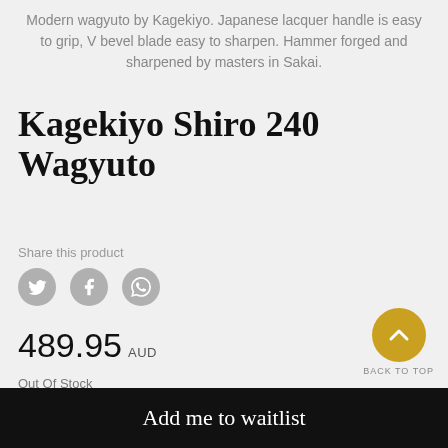Modern wagyuto by Kagekiyo. Japanese lacquer handle is easy to grip, V bevel blade easy to sharpen. Hammer forged and sharpened by masters in Sakai.
Kagekiyo Shiro 240 Wagyuto
Share this product
[Figure (other): Three circular social media sharing icons: Twitter bird, Facebook f, and WhatsApp phone]
489.95 AUD
Out Of Stock
Shipping & Delivery Time (>>)
Code: BAW2-240GY-61732
[Figure (other): Back to top button: gold circle with upward chevron arrow, labeled BACK TO TOP]
Add me to waitlist